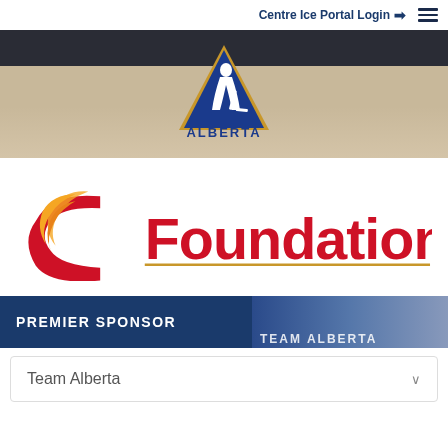Centre Ice Portal Login
[Figure (logo): Hockey Alberta logo - blue triangle with white hockey player silhouette and gold border, text ALBERTA below]
[Figure (logo): Calgary Flames Foundation logo - red C flame logo with text Foundation in red, gold underline]
PREMIER SPONSOR
Team Alberta